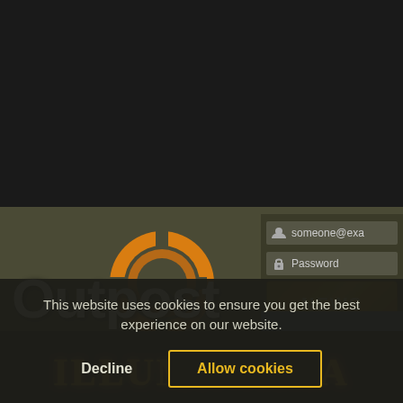[Figure (logo): Facebook logo icon with thumbs up]
outpostgamecenter
[Figure (photo): Banner with fire/forest background and text JOIN T... OUTPOST VR EX...]
[Figure (logo): Outpost Gamecenters logo with orange ring and silver text. ANTWERP • GHENT • BRUSSELS]
[Figure (screenshot): Login form with email and password fields]
NEWS
[Figure (photo): Thumbnail image with 'and' text overlay]
This website uses cookies to ensure you get the best experience on our website.
Decline
Allow cookies
[Figure (illustration): Illuminaria game art with stylized golden text at bottom]